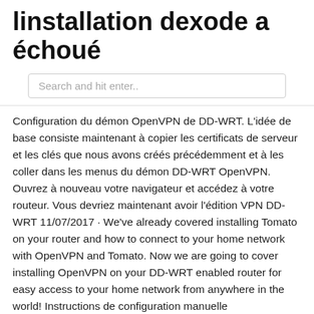linstallation dexode a échoué
Search and hit enter..
Configuration du démon OpenVPN de DD-WRT. L'idée de base consiste maintenant à copier les certificats de serveur et les clés que nous avons créés précédemment et à les coller dans les menus du démon DD-WRT OpenVPN. Ouvrez à nouveau votre navigateur et accédez à votre routeur. Vous devriez maintenant avoir l'édition VPN DD-WRT 11/07/2017 · We've already covered installing Tomato on your router and how to connect to your home network with OpenVPN and Tomato. Now we are going to cover installing OpenVPN on your DD-WRT enabled router for easy access to your home network from anywhere in the world! Instructions de configuration manuelle VyprVPN/routeur DD-WRT pour OpenVPN . Avant de configurer ce réglage, vous devrez flasher votre routeur avec la dernière OpenVPN-capable de fonctionner sur DD-WRT. Vous pouvez trouver notre routeur et paramètre co Routers running DD-WRT make it especially easy to run secure both your outgoing traffic via the OpenVPN client configuration, as well as your incoming traffic via the